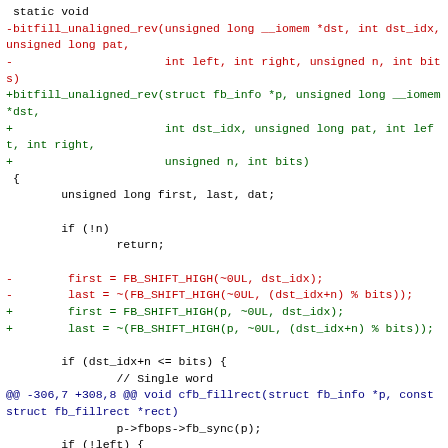Code diff showing bitfill_unaligned_rev function signature change and FB_SHIFT_HIGH macro parameter additions, followed by cfb_fillrect context and fb_sync/bswapmask code.